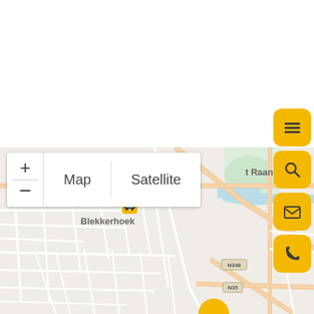[Figure (map): Street map showing Blekkerhoek area with roads including N348 and N35, map controls with zoom buttons and Map/Satellite toggle, yellow UI buttons on the right side (menu, search, email, phone), and a transit stop icon.]